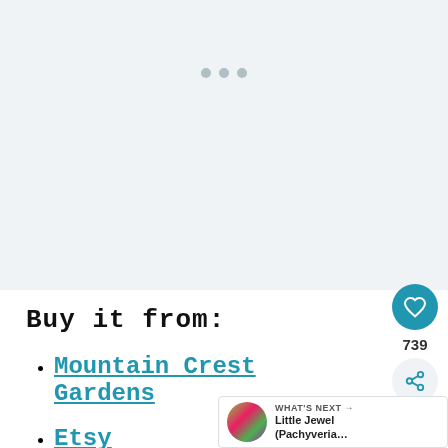[Figure (photo): Blank/loading image area with three dots indicating image carousel at top of page]
Buy it from:
Mountain Crest Gardens
Etsy